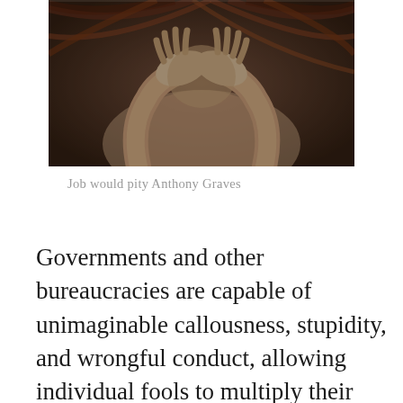[Figure (photo): A dramatic, dark artistic photograph of a figure with hands clasped over their head, face hidden, with reddish swirling hair or lines in the background. The figure appears distressed, depicted in a sepia/monochrome tone.]
Job would pity Anthony Graves
Governments and other bureaucracies are capable of unimaginable callousness, stupidity, and wrongful conduct, allowing individual fools to multiply their power to harm exponentially, and then to